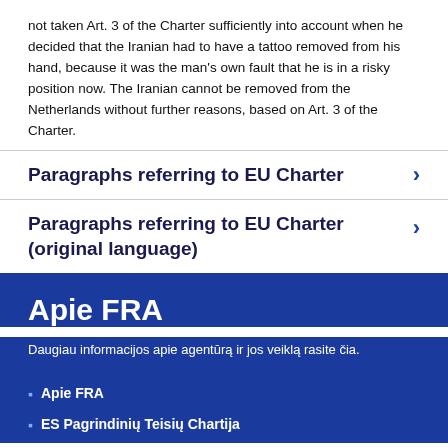not taken Art. 3 of the Charter sufficiently into account when he decided that the Iranian had to have a tattoo removed from his hand, because it was the man's own fault that he is in a risky position now. The Iranian cannot be removed from the Netherlands without further reasons, based on Art. 3 of the Charter.
Paragraphs referring to EU Charter
Paragraphs referring to EU Charter (original language)
Apie FRA
Daugiau informacijos apie agentūrą ir jos veiklą rasite čia.
Apie FRA
ES Pagrindinių Teisių Chartija